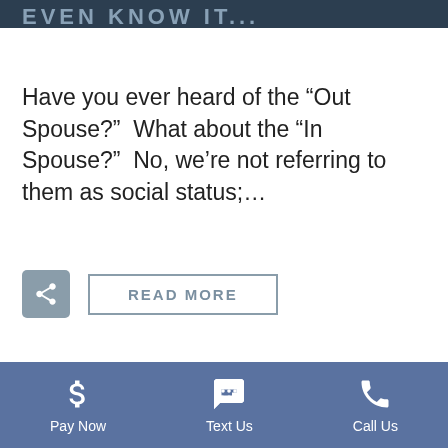EVEN KNOW IT...
Have you ever heard of the “Out Spouse?”  What about the “In Spouse?”  No, we’re not referring to them as social status;…
[Figure (screenshot): Share button (gray square with share icon) and READ MORE button (bordered rectangle with gray text)]
[Figure (photo): Photo strip showing a woman with curly hair and a child, with another person partially visible on the left]
Pay Now   Text Us   Call Us